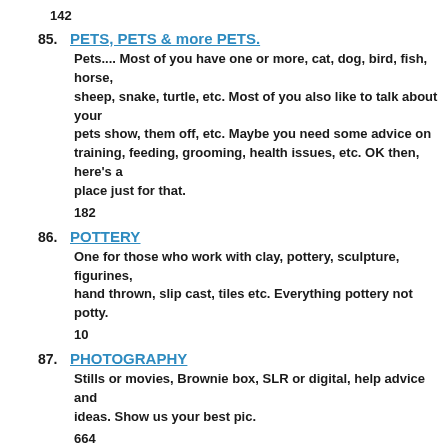142
85. PETS, PETS & more PETS.
Pets.... Most of you have one or more, cat, dog, bird, fish, horse, sheep, snake, turtle, etc. Most of you also like to talk about your pets show, them off, etc. Maybe you need some advice on training, feeding, grooming, health issues, etc. OK then, here's a place just for that.
182
86. POTTERY
One for those who work with clay, pottery, sculpture, figurines, hand thrown, slip cast, tiles etc. Everything pottery not potty.
10
87. PHOTOGRAPHY
Stills or movies, Brownie box, SLR or digital, help advice and ideas. Show us your best pic.
664
88. PHOTO FORUMS
0